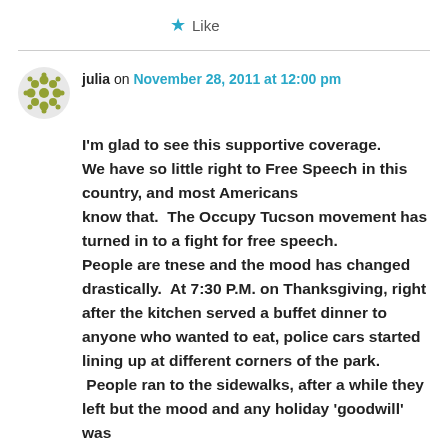Like
julia on November 28, 2011 at 12:00 pm
I'm glad to see this supportive coverage. We have so little right to Free Speech in this country, and most Americans know that.  The Occupy Tucson movement has turned in to a fight for free speech. People are tnese and the mood has changed drastically.  At 7:30 P.M. on Thanksgiving, right after the kitchen served a buffet dinner to anyone who wanted to eat, police cars started lining up at different corners of the park. People ran to the sidewalks, after a while they left but the mood and any holiday 'goodwill' was